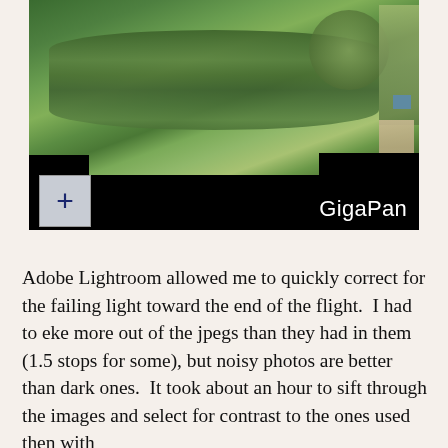[Figure (photo): GigaPan aerial/drone panoramic photo viewer showing an overhead view of forested green fields with a road or path, partially cropped with black borders. Zoom in (+) and zoom out (-) buttons visible at bottom left. 'GigaPan' watermark at bottom right.]
Adobe Lightroom allowed me to quickly correct for the failing light toward the end of the flight.  I had to eke more out of the jpegs than they had in them (1.5 stops for some), but noisy photos are better than dark ones.  It took about an hour to sift through the images and select for contrast to the ones used then with